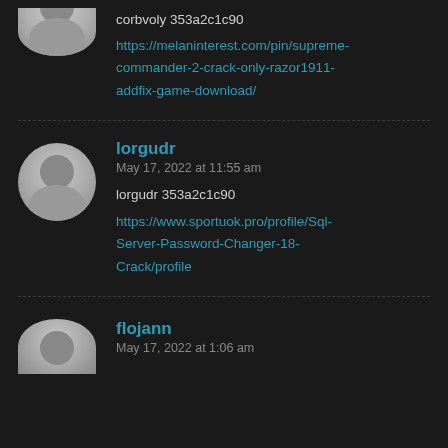corbvoly 353a2c1c90
https://melaninterest.com/pin/supreme-commander-2-crack-only-razor1911-addfix-game-download/
lorgudr
May 17, 2022 at 11:55 am
lorgudr 353a2c1c90
https://www.sportuok.pro/profile/Sql-Server-Password-Changer-18-Crack/profile
flojann
May 17, 2022 at 1:06 am